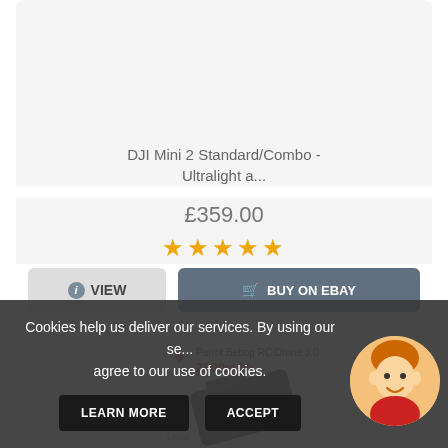DJI Mini 2 Standard/Combo - Ultralight a...
£359.00
[Figure (other): Five gold star rating icons]
VIEW
BUY ON EBAY
[Figure (photo): Product image of a Parrot Bebop RC Drone 3.0 2500mAh battery, black, with heart badge and in-stock label and 1 year badge]
Cookies help us deliver our services. By using our se... agree to our use of cookies.
LEARN MORE
ACCEPT
[Figure (illustration): Cartoon avatar of a person with orange hair wearing a red shirt]